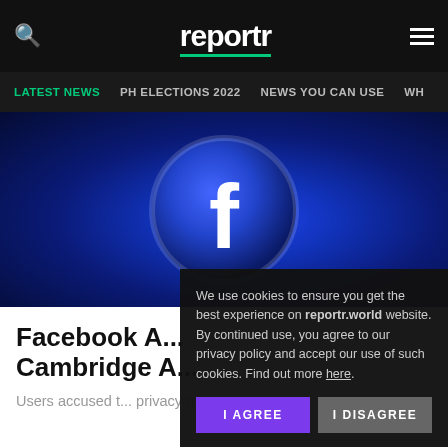reportr
LATEST NEWS | PH ELECTIONS 2022 | NEWS YOU CAN USE | WH
[Figure (photo): Close-up blue-tinted circular Facebook logo emblem with bokeh background]
Facebook A... Cambridge A...
Users accused t... privacy rules.
We use cookies to ensure you get the best experience on reportr.world website. By continued use, you agree to our privacy policy and accept our use of such cookies. Find out more here.
[Figure (photo): Partial view of a man wearing a white skullcap outdoors with bokeh green background]